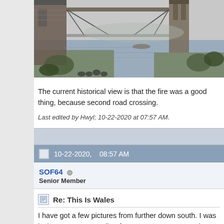[Figure (illustration): Black and white historical engraving/illustration of a bridge construction scene over a river, with workers in the foreground and bridge towers visible in the background.]
The current historical view is that the fire was a good thing, because second road crossing.
Last edited by Hwyl; 10-22-2020 at 07:57 AM.
10-22-2020, 08:57 AM
SOF64
Senior Member
Re: This Is Wales
I have got a few pictures from further down south. I was lucky enou to Port Talbot from 2005 to 2015. I made some good friends on